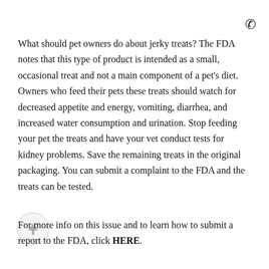What should pet owners do about jerky treats? The FDA notes that this type of product is intended as a small, occasional treat and not a main component of a pet's diet. Owners who feed their pets these treats should watch for decreased appetite and energy, vomiting, diarrhea, and increased water consumption and urination. Stop feeding your pet the treats and have your vet conduct tests for kidney problems. Save the remaining treats in the original packaging. You can submit a complaint to the FDA and the treats can be tested.
For more info on this issue and to learn how to submit a report to the FDA, click HERE.